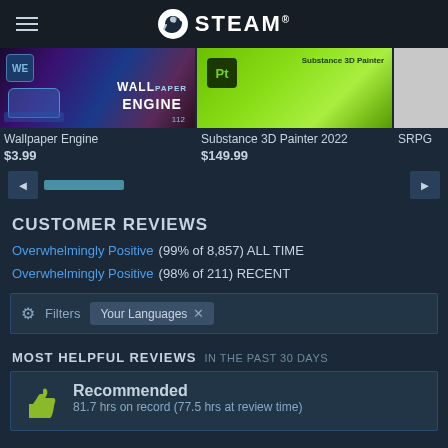STEAM
[Figure (screenshot): Wallpaper Engine product thumbnail with colorful car and engine imagery]
Wallpaper Engine
$3.99
[Figure (screenshot): Substance 3D Painter 2022 product thumbnail with green background and Pt icon]
Substance 3D Painter 2022
$149.99
SRPG
CUSTOMER REVIEWS
Overwhelmingly Positive (99% of 8,857) ALL TIME
Overwhelmingly Positive (98% of 211) RECENT
Filters  Your Languages
MOST HELPFUL REVIEWS IN THE PAST 30 DAYS
Recommended
81.7 hrs on record (77.5 hrs at review time)